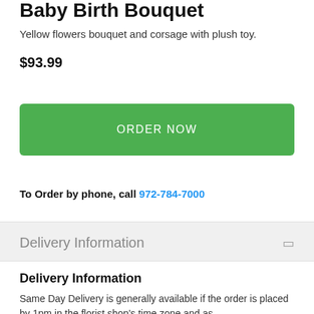Baby Birth Bouquet
Yellow flowers bouquet and corsage with plush toy.
$93.99
ORDER NOW
To Order by phone, call 972-784-7000
Delivery Information
Delivery Information
Same Day Delivery is generally available if the order is placed by 1pm in the florist shop's time zone and as